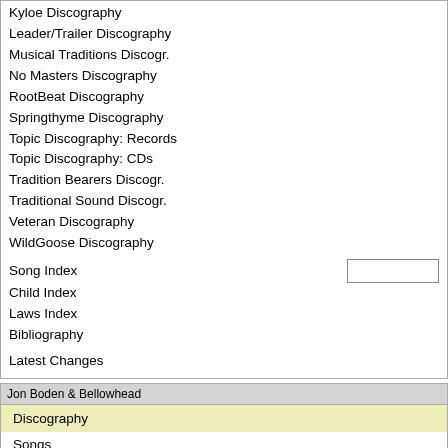Kyloe Discography
Leader/Trailer Discography
Musical Traditions Discogr.
No Masters Discography
RootBeat Discography
Springthyme Discography
Topic Discography: Records
Topic Discography: CDs
Tradition Bearers Discogr.
Traditional Sound Discogr.
Veteran Discography
WildGoose Discography
Song Index
Child Index
Laws Index
Bibliography
Latest Changes
Jon Boden & Bellowhead
Discography
Songs
Related Sites